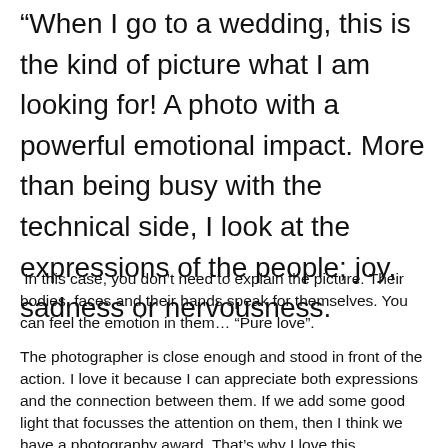“When I go to a wedding, this is the kind of picture what I am looking for! A photo with a powerful emotional impact. More than being busy with the technical side, I look at the expressions of the people; joy, sadness or nervousness.
In this case, you don’t need to explain the picture. Their bodies, faces and their hands speak for themselves. You can feel the emotion in them… “Pure love”.
The photographer is close enough and stood in front of the action. I love it because I can appreciate both expressions and the connection between them. If we add some good light that focusses the attention on them, then I think we have a photography award. That’s why I love this